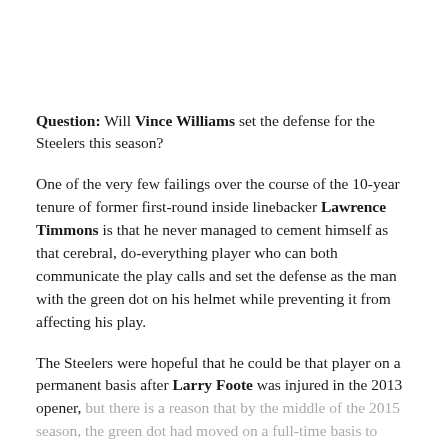Question: Will Vince Williams set the defense for the Steelers this season?
One of the very few failings over the course of the 10-year tenure of former first-round inside linebacker Lawrence Timmons is that he never managed to cement himself as that cerebral, do-everything player who can both communicate the play calls and set the defense as the man with the green dot on his helmet while preventing it from affecting his play.
The Steelers were hopeful that he could be that player on a permanent basis after Larry Foote was injured in the 2013 opener, but there is a reason that by the middle of the 2015 season, the green dot had moved on a full-time basis to Ryan